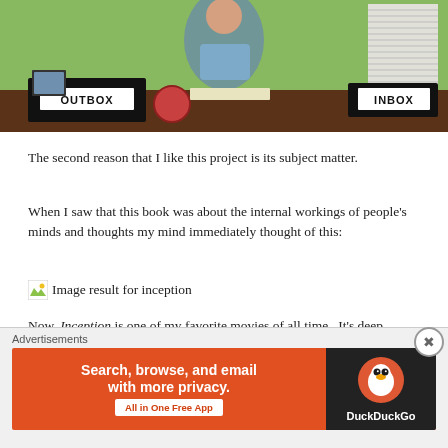[Figure (photo): Photo of a person at an office desk with OUTBOX and INBOX trays, a red clock, and a tall stack of papers on the right]
The second reason that I like this project is its subject matter.
When I saw that this book was about the internal workings of people’s minds and thoughts my mind immediately thought of this:
[Figure (photo): Broken image placeholder with text: Image result for inception]
Now, Inception is one of my favorite movies of all time. It’s deep, thoughtful, and trippy as all hell.
[Figure (screenshot): Advertisement banner: DuckDuckGo - Search, browse, and email with more privacy. All in One Free App]